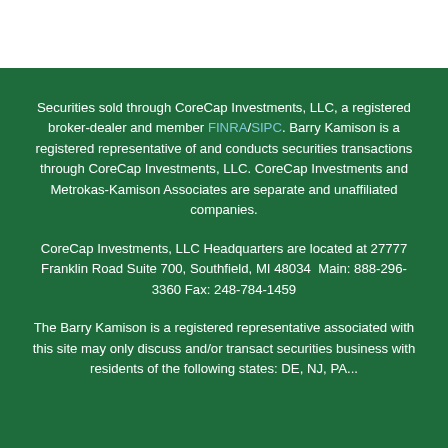Securities sold through CoreCap Investments, LLC, a registered broker-dealer and member FINRA/SIPC. Barry Kamison is a registered representative of and conducts securities transactions through CoreCap Investments, LLC. CoreCap Investments and Metrokas-Kamison Associates are separate and unaffiliated companies.
CoreCap Investments, LLC Headquarters are located at 27777 Franklin Road Suite 700, Southfield, MI 48034  Main: 888-296-3360 Fax: 248-784-1459
The Barry Kamison is a registered representative associated with this site may only discuss and/or transact securities business with residents of the following states: DE, NJ, PA...